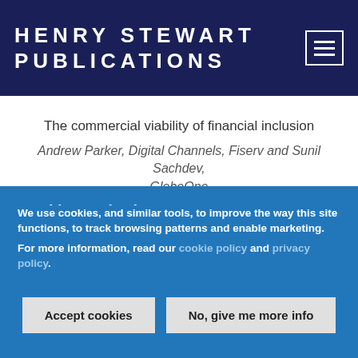HENRY STEWART PUBLICATIONS
The commercial viability of financial inclusion
Andrew Parker, Digital Channels, Fiserv and Sunil Sachdev, GlobeOne
FinTech and financial inclusion: Opportunities and challenges
Cookies and privacy
We use cookies, and similar tools, to improve the way this site functions, to track browsing patterns and enable marketing.
For more information, read our cookie policy and privacy policy.